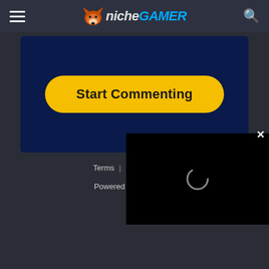Niche Gamer - navigation header with hamburger menu, logo, and search icon
[Figure (screenshot): Start Commenting button on dark blue background, comment embed area]
Terms | Privacy | H...
Powered by In...
[Figure (screenshot): Video player overlay popup with black background and loading spinner circle, with X close button]